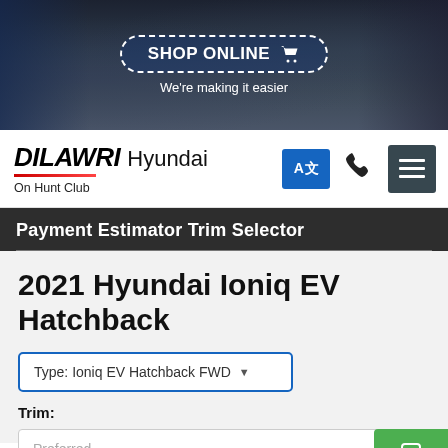[Figure (screenshot): Hero banner with dark background showing car interior, dashed-border 'SHOP ONLINE' button with cart icon, subtitle text 'We're making it easier']
DILAWRI Hyundai On Hunt Club
Payment Estimator Trim Selector
2021 Hyundai Ioniq EV Hatchback
Type: Ioniq EV Hatchback FWD
Trim:
Preferred
Transmission: